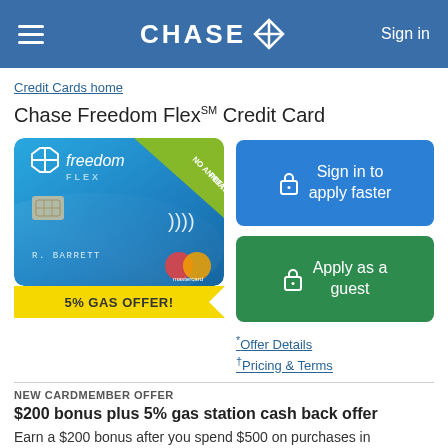CHASE — Sign in
Credit Cards home
Chase Freedom Flex℠ Credit Card
[Figure (photo): Chase Freedom Flex credit card image with 'NO ANNUAL FEE†' banner in upper right corner, showing a blue card with Chase and Freedom Flex branding, chip, contactless symbol, and Mastercard logo. Name shown: R. BARRETT]
5% GAS OFFER!
Sign in to apply faster
Apply as a guest
*Offer Details
†Pricing & Terms
NEW CARDMEMBER OFFER
$200 bonus plus 5% gas station cash back offer
Earn a $200 bonus after you spend $500 on purchases in